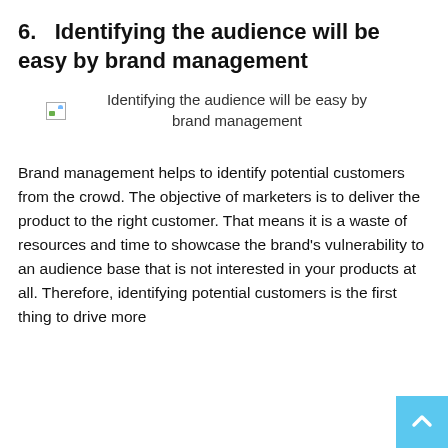6.   Identifying the audience will be easy by brand management
[Figure (illustration): Broken/missing image placeholder with alt text: Identifying the audience will be easy by brand management]
Identifying the audience will be easy by brand management
Brand management helps to identify potential customers from the crowd. The objective of marketers is to deliver the product to the right customer. That means it is a waste of resources and time to showcase the brand's vulnerability to an audience base that is not interested in your products at all. Therefore, identifying potential customers is the first thing to drive more